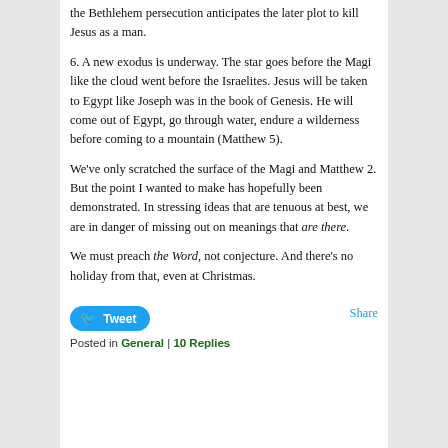the Bethlehem persecution anticipates the later plot to kill Jesus as a man.
6. A new exodus is underway. The star goes before the Magi like the cloud went before the Israelites. Jesus will be taken to Egypt like Joseph was in the book of Genesis. He will come out of Egypt, go through water, endure a wilderness before coming to a mountain (Matthew 5).
We've only scratched the surface of the Magi and Matthew 2. But the point I wanted to make has hopefully been demonstrated. In stressing ideas that are tenuous at best, we are in danger of missing out on meanings that are there.
We must preach the Word, not conjecture. And there's no holiday from that, even at Christmas.
Tweet    Share
Posted in General | 10 Replies